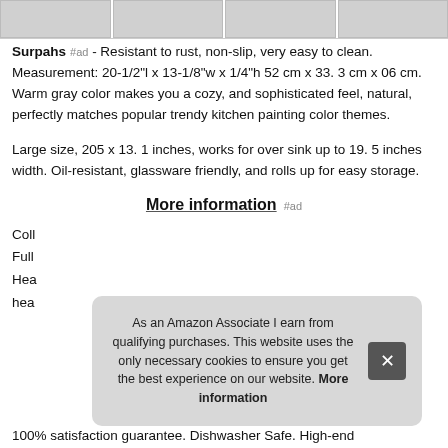[Figure (photo): Strip of four product thumbnail images at the top of the page]
Surpahs #ad - Resistant to rust, non-slip, very easy to clean. Measurement: 20-1/2"l x 13-1/8"w x 1/4"h 52 cm x 33. 3 cm x 06 cm. Warm gray color makes you a cozy, and sophisticated feel, natural, perfectly matches popular trendy kitchen painting color themes.
Large size, 205 x 13. 1 inches, works for over sink up to 19. 5 inches width. Oil-resistant, glassware friendly, and rolls up for easy storage.
More information #ad
Coll
Full
Hea
hea
As an Amazon Associate I earn from qualifying purchases. This website uses the only necessary cookies to ensure you get the best experience on our website. More information
100% satisfaction guarantee. Dishwasher Safe. High-end